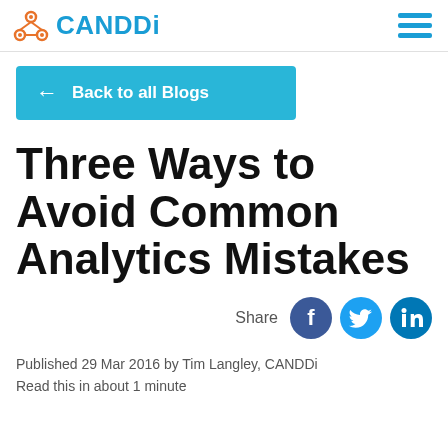[Figure (logo): CANDDi logo with orange network icon and blue text, plus hamburger menu icon on the right]
← Back to all Blogs
Three Ways to Avoid Common Analytics Mistakes
[Figure (infographic): Share row with Facebook, Twitter, and LinkedIn social icons]
Published 29 Mar 2016 by Tim Langley, CANDDi
Read this in about 1 minute